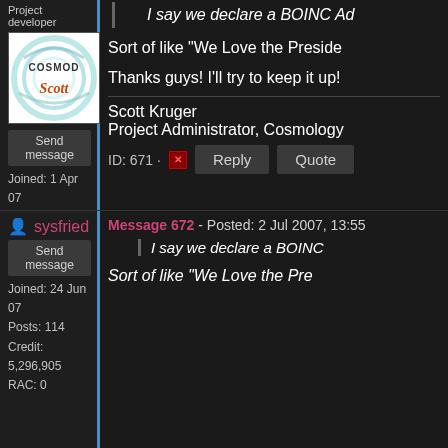Project developer
[Figure (photo): Avatar image showing 'Cosmod Scott' logo with swirling design]
Send message
Joined: 1 Apr 07
Posts: 662
Credit: 13,742
RAC: 0
I say we declare a BOINC Ad
Sort of like "We Love the Preside
Thanks guys! I'll try to keep it up!
Scott Kruger
Project Administrator, Cosmology
ID: 671 · Reply Quote
sysfried
Message 672 - Posted: 2 Jul 2007, 13:55
Send message
Joined: 24 Jun 07
Posts: 114
Credit: 5,296,905
RAC: 0
I say we declare a BOINC
Sort of like "We Love the Pre